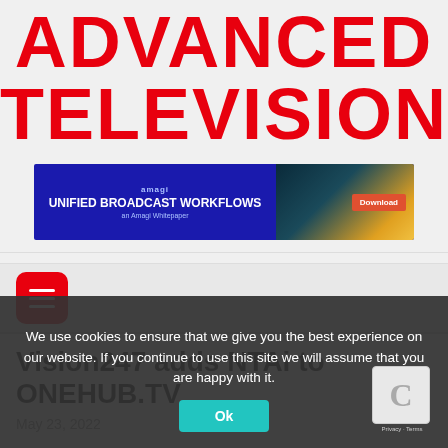ADVANCED TELEVISION
[Figure (infographic): Amagi ad banner: UNIFIED BROADCAST WORKFLOWS - an Amagi Whitepaper, Download button, dark blue background with highway lights image]
[Figure (other): Red rounded rectangle hamburger menu button with three white horizontal lines]
Vision247 adds NTAi to ONEHUB.TV
May 23, 2022
We use cookies to ensure that we give you the best experience on our website. If you continue to use this site we will assume that you are happy with it.
Ok